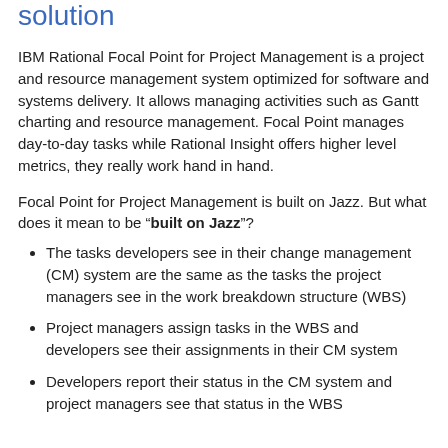solution
IBM Rational Focal Point for Project Management is a project and resource management system optimized for software and systems delivery. It allows managing activities such as Gantt charting and resource management. Focal Point manages day-to-day tasks while Rational Insight offers higher level metrics, they really work hand in hand.
Focal Point for Project Management is built on Jazz. But what does it mean to be "built on Jazz"?
The tasks developers see in their change management (CM) system are the same as the tasks the project managers see in the work breakdown structure (WBS)
Project managers assign tasks in the WBS and developers see their assignments in their CM system
Developers report their status in the CM system and project managers see that status in the WBS